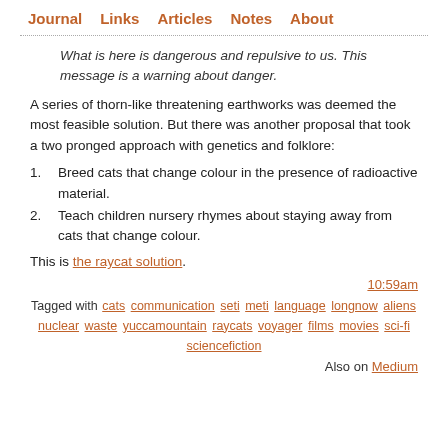Journal  Links  Articles  Notes  About
What is here is dangerous and repulsive to us. This message is a warning about danger.
A series of thorn-like threatening earthworks was deemed the most feasible solution. But there was another proposal that took a two pronged approach with genetics and folklore:
Breed cats that change colour in the presence of radioactive material.
Teach children nursery rhymes about staying away from cats that change colour.
This is the raycat solution.
10:59am
Tagged with cats communication seti meti language longnow aliens nuclear waste yuccamountain raycats voyager films movies sci-fi sciencefiction
Also on Medium